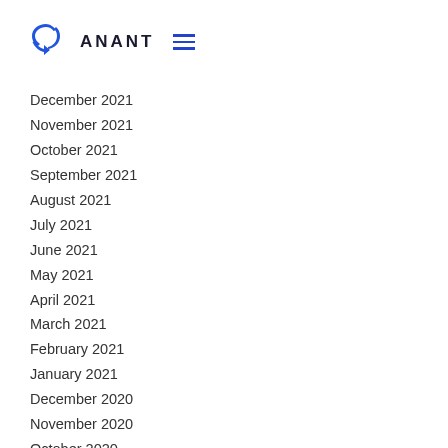[Figure (logo): Anant logo with blue Redux-style icon and text ANANT with hamburger menu icon]
December 2021
November 2021
October 2021
September 2021
August 2021
July 2021
June 2021
May 2021
April 2021
March 2021
February 2021
January 2021
December 2020
November 2020
October 2020
September 2020
August 2020
July 2020